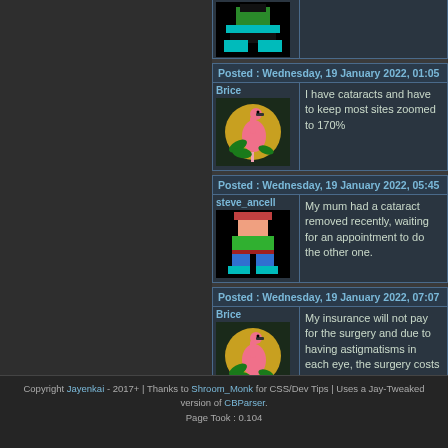[Figure (screenshot): Partial post at top showing a pixel-art avatar (dark background with cyan figure)]
Posted : Wednesday, 19 January 2022, 01:05
Brice
I have cataracts and have to keep most sites zoomed to 170%
Posted : Wednesday, 19 January 2022, 05:45
steve_ancell
My mum had a cataract removed recently, waiting for an appointment to do the other one.
Posted : Wednesday, 19 January 2022, 07:07
Brice
My insurance will not pay for the surgery and due to having astigmatisms in each eye, the surgery costs twice as much as it does for those without astigmatisms. Would be $10,000-$12,000 for both eyes.
Copyright Jayenkai - 2017+ | Thanks to Shroom_Monk for CSS/Dev Tips | Uses a Jay-Tweaked version of CBParser.
Page Took : 0.104